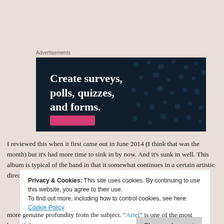Advertisements
[Figure (screenshot): Dark navy advertisement banner with white bold serif text reading 'Create surveys, polls, quizzes, and forms.' with a pink/magenta button at the bottom and decorative dot pattern background.]
I reviewed this when it first came out in June 2014 (I think that was the month) but it's had more time to sink in by now. And it's sunk in well. This album is typical of the band in that it somewhat continues in a certain artistic direction, but i
Privacy & Cookies: This site uses cookies. By continuing to use this website, you agree to their use.
To find out more, including how to control cookies, see here: Cookie Policy
Close and accept
more genuine profundity from the subject. "Ariel" is one of the most beautiful